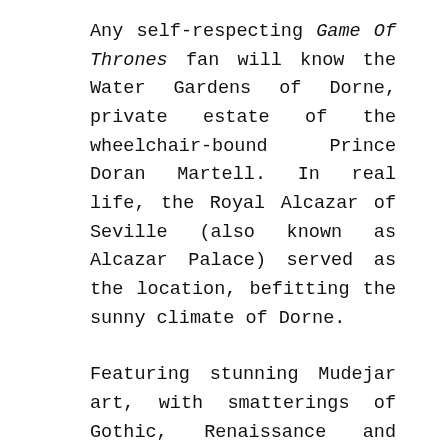Any self-respecting Game Of Thrones fan will know the Water Gardens of Dorne, private estate of the wheelchair-bound Prince Doran Martell. In real life, the Royal Alcazar of Seville (also known as Alcazar Palace) served as the location, befitting the sunny climate of Dorne.
Featuring stunning Mudejar art, with smatterings of Gothic, Renaissance and Romanesque design elements, the palace and its grounds are a breathtaking sight. When the royal family is in Seville, they still reside in the upper storeys of the Alcazar, which was registered in 1987 as a World Heritage Site by UNESCO.
That's not all – Star Wars fans must pay a visit to Plaza De Espana (Spain Square). It was there where the scenes featuring Queen Amidala at Theed Royal Palace on Planet Naboo were filmed